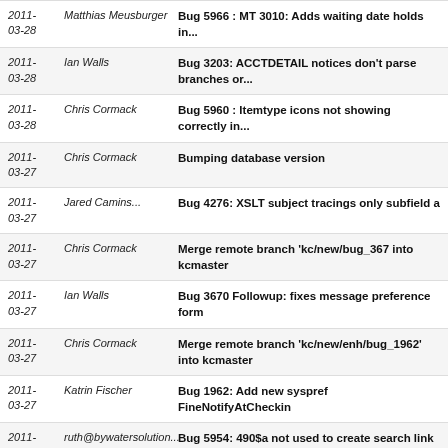2011-03-28 | Matthias Meusburger | Bug 5966 : MT 3010: Adds waiting date holds in...
2011-03-28 | Ian Walls | Bug 3203: ACCTDETAIL notices don't parse branches or...
2011-03-28 | Chris Cormack | Bug 5960 : Itemtype icons not showing correctly in...
2011-03-27 | Chris Cormack | Bumping database version
2011-03-27 | Jared Camins... | Bug 4276: XSLT subject tracings only subfield a
2011-03-27 | Chris Cormack | Merge remote branch 'kc/new/bug_367 into kcmaster
2011-03-27 | Ian Walls | Bug 3670 Followup: fixes message preference form
2011-03-27 | Chris Cormack | Merge remote branch 'kc/new/enh/bug_1962' into kcmaster
2011-03-27 | Katrin Fischer | Bug 1962: Add new syspref FineNotifyAtCheckin
2011-03-27 | ruth@bywatersolution... | Bug 5954: 490$a not used to create search link in XSLT